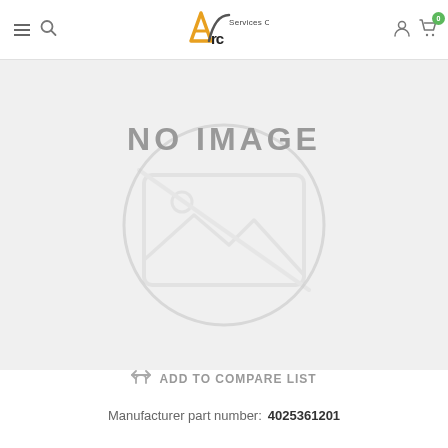ARC Services Co. — navigation header
[Figure (illustration): No image placeholder with camera/image icon watermark and text 'NO IMAGE' on grey background]
ADD TO COMPARE LIST
Manufacturer part number: 4025361201